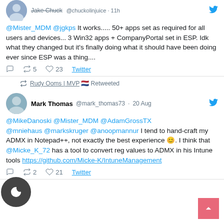@Mister_MDM @jgkps It works..... 50+ apps set as required for all users and devices... 3 Win32 apps + CompanyPortal set in ESP. Idk what they changed but it's finally doing what it should have been doing ever since ESP was a thing....
Retweet 5  Like 23  Twitter
Rudy Ooms | MVP Retweeted
Mark Thomas @mark_thomas73 · 20 Aug
@MikeDanoski @Mister_MDM @AdamGrossTX @mniehaus @markskruger @anoopmannur I tend to hand-craft my ADMX in Notepad++, not exactly the best experience 😊. I think that @Micke_K_72 has a tool to convert reg values to ADMX in his Intune tools https://github.com/Micke-K/IntuneManagement
Retweet 2  Like 21  Twitter